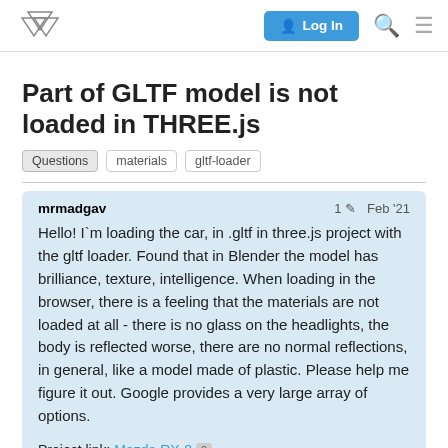three.js forum — Log In
Part of GLTF model is not loaded in THREE.js
Questions   materials   gltf-loader
mrmadgav   1 ✏  Feb '21
Hello! I`m loading the car, in .gltf in three.js project with the gltf loader. Found that in Blender the model has brilliance, texture, intelligence. When loading in the browser, there is a feeling that the materials are not loaded at all - there is no glass on the headlights, the body is reflected worse, there are no normal reflections, in general, like a model made of plastic. Please help me figure it out. Google provides a very large array of options.
Project link: Mazda RX-8  9
Github link: GitHub - mrmadgav/rx8: Mazd
1 / 6